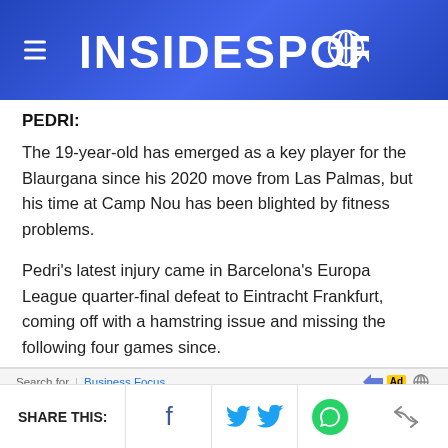INSIDESPORT
PEDRI:
The 19-year-old has emerged as a key player for the Blaurgana since his 2020 move from Las Palmas, but his time at Camp Nou has been blighted by fitness problems.
Pedri's latest injury came in Barcelona's Europa League quarter-final defeat to Eintracht Frankfurt, coming off with a hamstring issue and missing the following four games since.
Munc... [partially obscured by ad]
SHARE THIS: